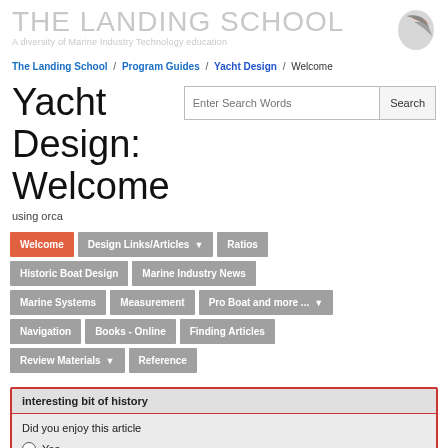THE LANDING SCHOOL
A diversity of Marine Industry Technology education
The Landing School / Program Guides / Yacht Design / Welcome
Yacht Design: Welcome
using orca
Welcome | Design Links/Articles | Ratios | Historic Boat Design | Marine Industry News | Marine Systems | Measurement | Pro Boat and more ... | Navigation | Books - Online | Finding Articles | Review Materials | Reference
interesting bit of history
Did you enjoy this article
Yes